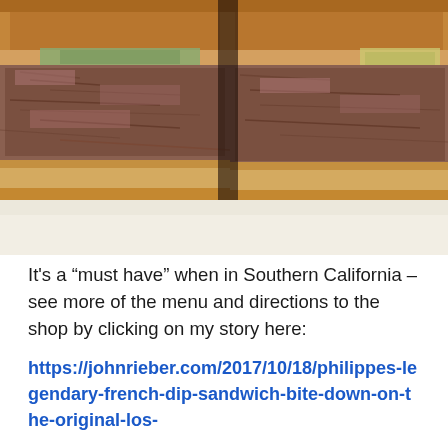[Figure (photo): Close-up photograph of a French dip sandwich cut in half, showing layers of shredded roast beef and toasted bread, placed on white paper.]
It's a “must have” when in Southern California – see more of the menu and directions to the shop by clicking on my story here:
https://johnrieber.com/2017/10/18/philippes-legendary-french-dip-sandwich-bite-down-on-the-original-los-